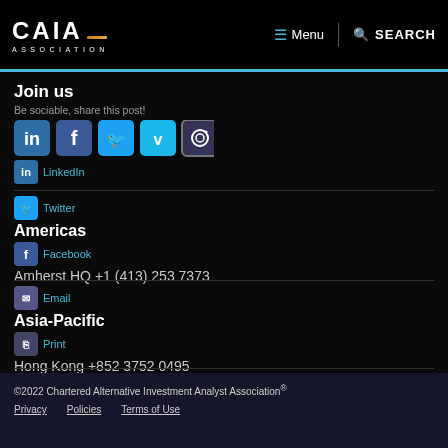CAIA ASSOCIATION — Menu | SEARCH
Join us
Be sociable, share this post!
LinkedIn · Twitter · Facebook · Email · Print
Americas
Amherst HQ +1 (413) 253 7373
Asia-Pacific
Hong Kong +852 3752 0495
Blog Submission Guidelines
Europe
Geneva +41 (0)22 347 45 90
©2022 Chartered Alternative Investment Analyst Association®  Privacy  Policies  Terms of Use